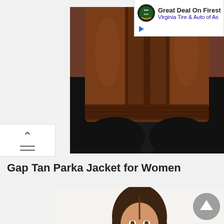[Figure (screenshot): Ad banner top right: Virginia Tire & Auto logo with text 'Great Deal On Firestone' and 'Virginia Tire & Auto of As...']
[Figure (photo): Close-up of brown leather jacket torso portion with black leggings, cropped product image]
[Figure (screenshot): Scroll-up navigation button on left side with caret and lines]
Gap Tan Parka Jacket for Women
[Figure (photo): Woman with brown hair wearing a tan/camel parka jacket, product photo with white background]
[Figure (screenshot): Grey circular back-to-top button with upward caret arrow]